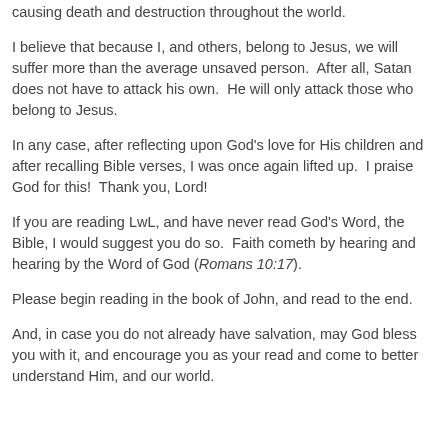causing death and destruction throughout the world.
I believe that because I, and others, belong to Jesus, we will suffer more than the average unsaved person.  After all, Satan does not have to attack his own.  He will only attack those who belong to Jesus.
In any case, after reflecting upon God's love for His children and after recalling Bible verses, I was once again lifted up.  I praise God for this!  Thank you, Lord!
If you are reading LwL, and have never read God's Word, the Bible, I would suggest you do so.  Faith cometh by hearing and hearing by the Word of God (Romans 10:17).
Please begin reading in the book of John, and read to the end.
And, in case you do not already have salvation, may God bless you with it, and encourage you as your read and come to better understand Him, and our world.